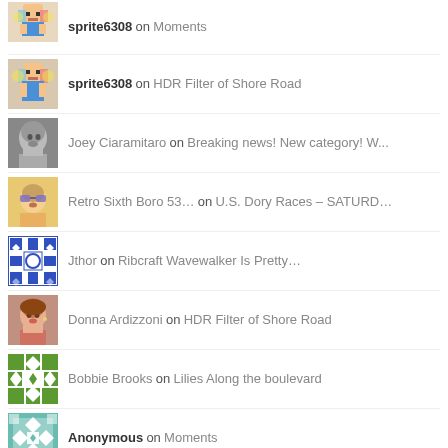sprite6308 on Moments
sprite6308 on HDR Filter of Shore Road
Joey Ciaramitaro on Breaking news! New category! W...
Retro Sixth Boro 53... on U.S. Dory Races – SATURD...
Jthor on Ribcraft Wavewalker Is Pretty...
Donna Ardizzoni on HDR Filter of Shore Road
Bobbie Brooks on Lilies Along the boulevard
Anonymous on Moments
...